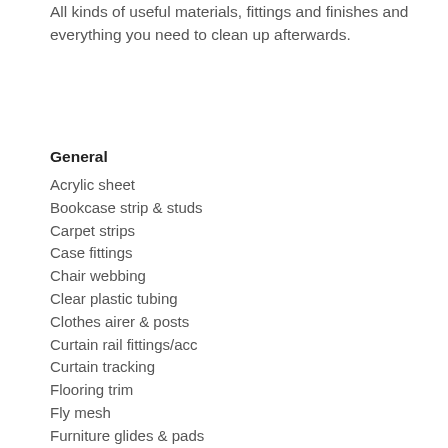All kinds of useful materials, fittings and finishes and everything you need to clean up afterwards.
General
Acrylic sheet
Bookcase strip & studs
Carpet strips
Case fittings
Chair webbing
Clear plastic tubing
Clothes airer & posts
Curtain rail fittings/acc
Curtain tracking
Flooring trim
Fly mesh
Furniture glides & pads
Handrail & grab rails